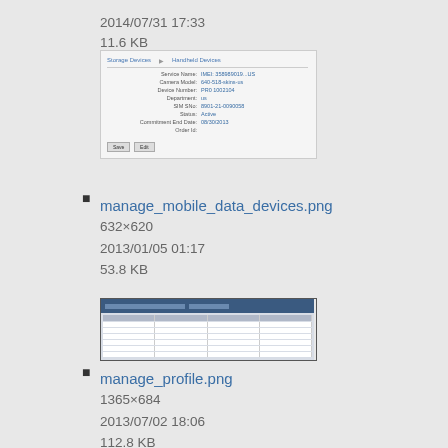2014/07/31 17:33
11.6 KB
[Figure (screenshot): Thumbnail screenshot of a device management form interface showing fields like Service Name, Camera Model, Device Number, Department, SIM SNo, Status, Commitment End Date, Order Id, with Save and Edit buttons]
manage_mobile_data_devices.png
632×620
2013/01/05 01:17
53.8 KB
[Figure (screenshot): Thumbnail screenshot of a profile management table/grid interface with dark blue header and tabular data rows]
manage_profile.png
1365×684
2013/07/02 18:06
112.8 KB
[Figure (screenshot): Thumbnail screenshot of a profile search interface showing a search bar with dark blue header]
manage_profile_search.png
329×75
2013/05/01 00:01